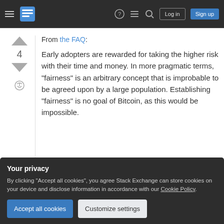Stack Exchange navigation bar with hamburger menu, logo, icons, Log in and Sign up buttons
From the FAQ:
Early adopters are rewarded for taking the higher risk with their time and money. In more pragmatic terms, "fairness" is an arbitrary concept that is improbable to be agreed upon by a large population. Establishing "fairness" is no goal of Bitcoin, as this would be impossible.
Your privacy
By clicking "Accept all cookies", you agree Stack Exchange can store cookies on your device and disclose information in accordance with our Cookie Policy.
Accept all cookies
Customize settings
Share answered Dec 2, 2011 at 16:54